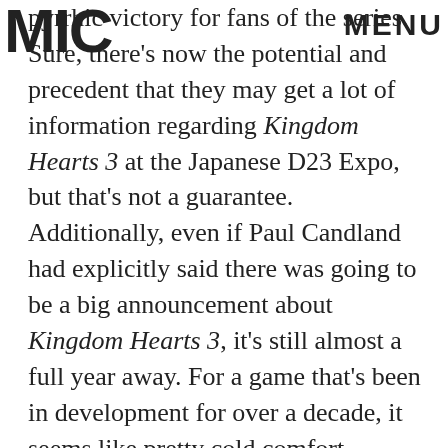MIC MENU
pyrrhic victory for fans of the series. Sure, there's now the potential and precedent that they may get a lot of information regarding Kingdom Hearts 3 at the Japanese D23 Expo, but that's not a guarantee. Additionally, even if Paul Candland had explicitly said there was going to be a big announcement about Kingdom Hearts 3, it's still almost a full year away. For a game that's been in development for over a decade, it seems like pretty cold comfort.
ADVERTISEMENT